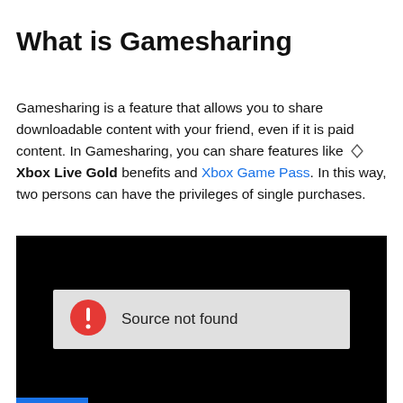What is Gamesharing
Gamesharing is a feature that allows you to share downloadable content with your friend, even if it is paid content. In Gamesharing, you can share features like ◇ Xbox Live Gold benefits and Xbox Game Pass. In this way, two persons can have the privileges of single purchases.
[Figure (screenshot): Black video player with error message box showing a red circle with exclamation mark and text 'Source not found' on a light gray background. A blue bar appears at the bottom left.]